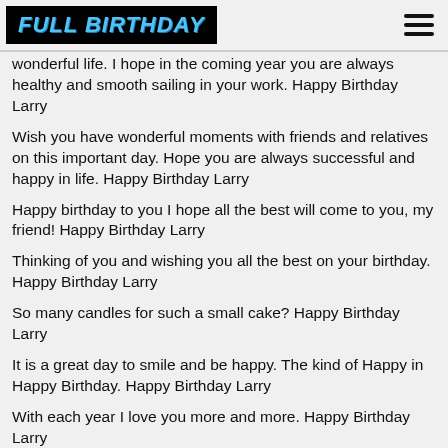FULL BIRTHDAY
wonderful life. I hope in the coming year you are always healthy and smooth sailing in your work. Happy Birthday Larry
Wish you have wonderful moments with friends and relatives on this important day. Hope you are always successful and happy in life. Happy Birthday Larry
Happy birthday to you I hope all the best will come to you, my friend! Happy Birthday Larry
Thinking of you and wishing you all the best on your birthday. Happy Birthday Larry
So many candles for such a small cake? Happy Birthday Larry
It is a great day to smile and be happy. The kind of Happy in Happy Birthday. Happy Birthday Larry
With each year I love you more and more. Happy Birthday Larry